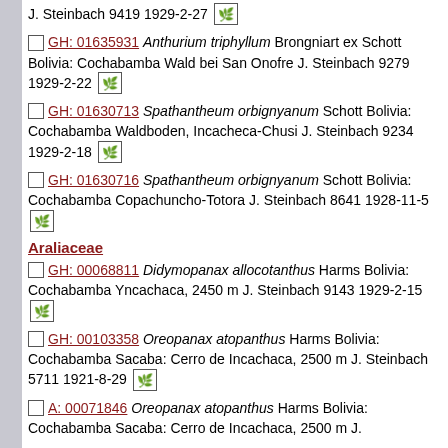J. Steinbach 9419 1929-2-27 [leaf icon]
GH: 01635931 Anthurium triphyllum Brongniart ex Schott Bolivia: Cochabamba Wald bei San Onofre J. Steinbach 9279 1929-2-22 [leaf icon]
GH: 01630713 Spathantheum orbignyanum Schott Bolivia: Cochabamba Waldboden, Incacheca-Chusi J. Steinbach 9234 1929-2-18 [leaf icon]
GH: 01630716 Spathantheum orbignyanum Schott Bolivia: Cochabamba Copachuncho-Totora J. Steinbach 8641 1928-11-5 [leaf icon]
Araliaceae
GH: 00068811 Didymopanax allocotanthus Harms Bolivia: Cochabamba Yncachaca, 2450 m J. Steinbach 9143 1929-2-15 [leaf icon]
GH: 00103358 Oreopanax atopanthus Harms Bolivia: Cochabamba Sacaba: Cerro de Incachaca, 2500 m J. Steinbach 5711 1921-8-29 [leaf icon]
A: 00071846 Oreopanax atopanthus Harms Bolivia: Cochabamba Sacaba: Cerro de Incachaca, 2500 m J.